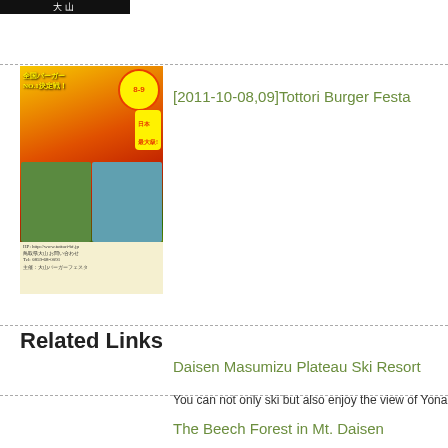[Figure (photo): Black banner with Japanese text '大山' in white]
[Figure (photo): Tottori Burger Festa event poster in Japanese with colorful design, date 8-9, food imagery]
[2011-10-08,09]Tottori Burger Festa
Related Links
Daisen Masumizu Plateau Ski Resort
You can not only ski but also enjoy the view of Yonago
The Beech Forest in Mt. Daisen